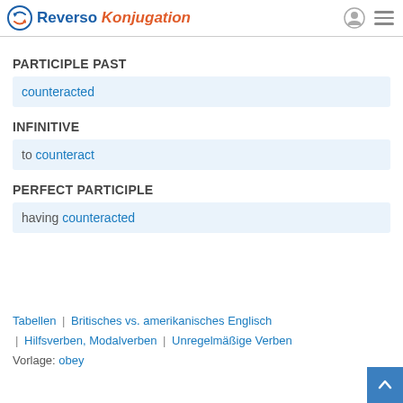Reverso Konjugation
PARTICIPLE PAST
counteracted
INFINITIVE
to counteract
PERFECT PARTICIPLE
having counteracted
Tabellen | Britisches vs. amerikanisches Englisch | Hilfsverben, Modalverben | Unregelmäßige Verben
Vorlage: obey